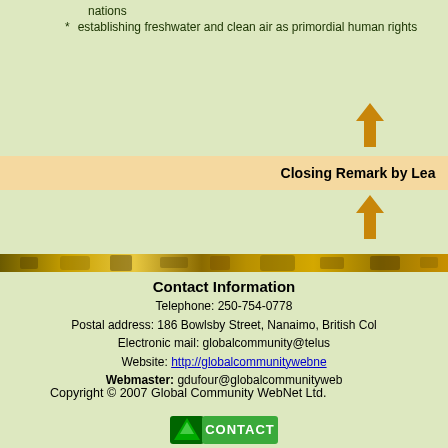nations
* establishing freshwater and clean air as primordial human rights
[Figure (illustration): Golden upward-pointing arrow icon]
Closing Remark by Lead
[Figure (illustration): Golden upward-pointing arrow icon]
[Figure (illustration): Golden decorative horizontal bar with earth/nature imagery]
Contact Information
Telephone: 250-754-0778
Postal address: 186 Bowlsby Street, Nanaimo, British Col
Electronic mail: globalcommunity@telus
Website: http://globalcommunitywebne
Webmaster: gdufour@globalcommunityweb
Copyright © 2007 Global Community WebNet Ltd.
[Figure (logo): Contact button with triangle/mountain logo and CONTACT text]